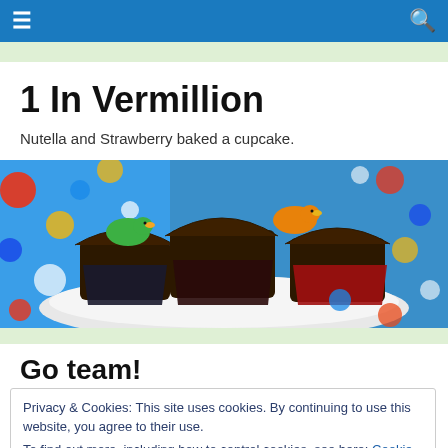Navigation bar with hamburger menu and search icon
1 In Vermillion
Nutella and Strawberry baked a cupcake.
[Figure (photo): Chocolate cupcakes on a plate with colorful polka dot background; two cupcakes topped with small green and orange rubber duck decorations]
Go team!
Privacy & Cookies: This site uses cookies. By continuing to use this website, you agree to their use. To find out more, including how to control cookies, see here: Cookie Policy
timed